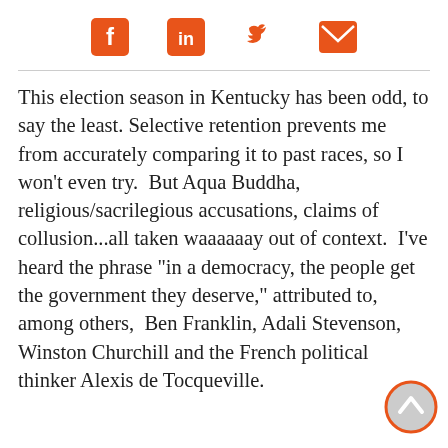[Social share icons: Facebook, LinkedIn, Twitter, Email]
This election season in Kentucky has been odd, to say the least. Selective retention prevents me from accurately comparing it to past races, so I won't even try.  But Aqua Buddha, religious/sacrilegious accusations, claims of collusion...all taken waaaaaay out of context.  I've heard the phrase "in a democracy, the people get the government they deserve," attributed to, among others,  Ben Franklin, Adali Stevenson, Winston Churchill and the French political thinker Alexis de Tocqueville.
[Figure (other): Scroll-to-top button: circular button with orange border and gray fill with an upward chevron arrow]